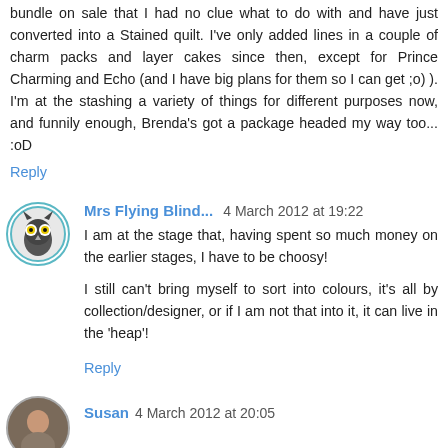bundle on sale that I had no clue what to do with and have just converted into a Stained quilt. I've only added lines in a couple of charm packs and layer cakes since then, except for Prince Charming and Echo (and I have big plans for them so I can get ;o) ). I'm at the stashing a variety of things for different purposes now, and funnily enough, Brenda's got a package headed my way too... :oD
Reply
Mrs Flying Blind... 4 March 2012 at 19:22
I am at the stage that, having spent so much money on the earlier stages, I have to be choosy!
I still can't bring myself to sort into colours, it's all by collection/designer, or if I am not that into it, it can live in the 'heap'!
Reply
Susan 4 March 2012 at 20:05